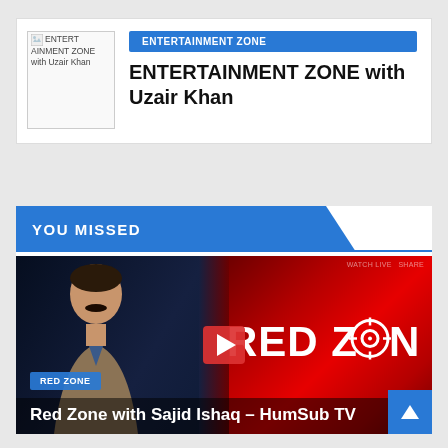[Figure (photo): Entertainment Zone with Uzair Khan logo/thumbnail image showing broken image placeholder text]
ENTERTAINMENT ZONE
ENTERTAINMENT ZONE with Uzair Khan
YOU MISSED
[Figure (screenshot): Video thumbnail showing Red Zone with Sajid Ishaq on HumSub TV - man in studio on left, Red Zone logo on red background on right, with play button overlay]
Red Zone with Sajid Ishaq – HumSub TV